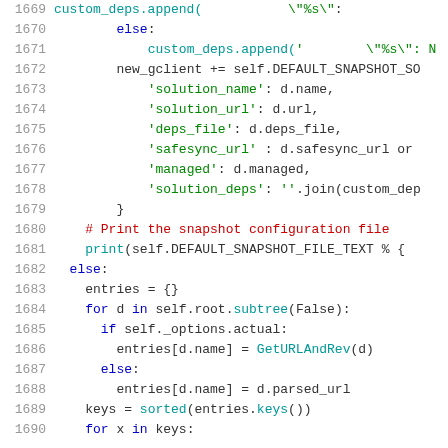[Figure (screenshot): Source code listing showing Python code lines 1669-1690, with line numbers on the left, syntax highlighted in multiple colors on white background.]